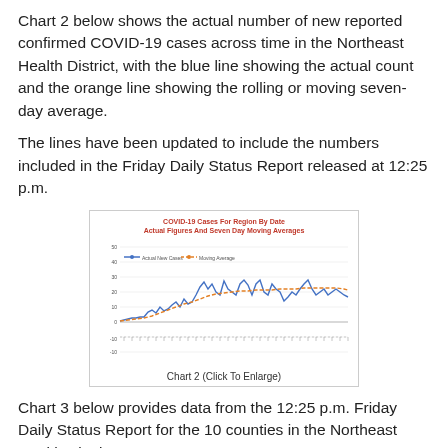Chart 2 below shows the actual number of new reported confirmed COVID-19 cases across time in the Northeast Health District, with the blue line showing the actual count and the orange line showing the rolling or moving seven-day average.
The lines have been updated to include the numbers included in the Friday Daily Status Report released at 12:25 p.m.
[Figure (line-chart): Line chart showing COVID-19 actual new cases (blue line) and seven-day moving average (orange dashed line) for the Northeast Health District. Y-axis ranges from -10 to 50. Values peak around 45 and show an overall upward trend.]
Chart 2 (Click To Enlarge)
Chart 3 below provides data from the 12:25 p.m. Friday Daily Status Report for the 10 counties in the Northeast Health District.